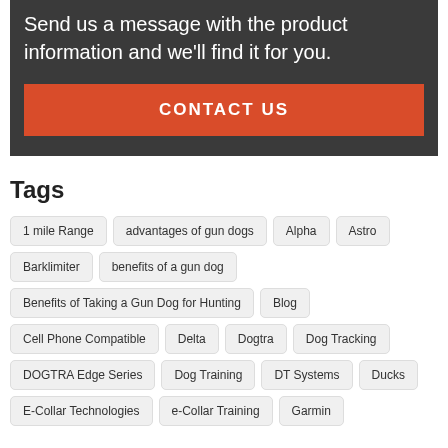Send us a message with the product information and we’ll find it for you.
CONTACT US
Tags
1 mile Range
advantages of gun dogs
Alpha
Astro
Barklimiter
benefits of a gun dog
Benefits of Taking a Gun Dog for Hunting
Blog
Cell Phone Compatible
Delta
Dogtra
Dog Tracking
DOGTRA Edge Series
Dog Training
DT Systems
Ducks
E-Collar Technologies
e-Collar Training
Garmin